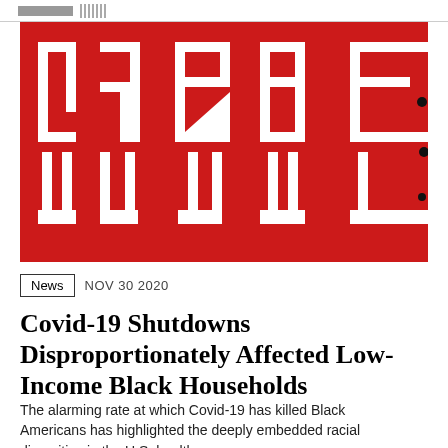[Figure (photo): Red textured background with large white block letters partially visible, resembling a cropped typographic design or book cover art.]
News   NOV 30 2020
Covid-19 Shutdowns Disproportionately Affected Low-Income Black Households
The alarming rate at which Covid-19 has killed Black Americans has highlighted the deeply embedded racial disparities in the U.S. health...